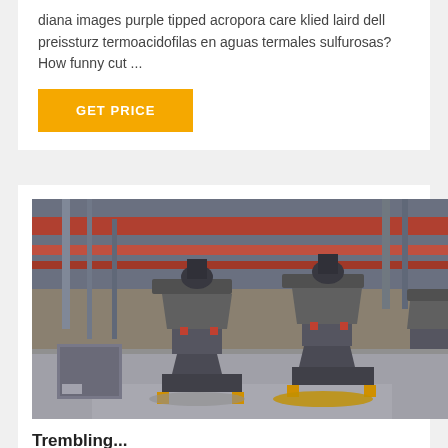diana images purple tipped acropora care klied laird dell preissturz termoacidofilas en aguas termales sulfurosas? How funny cut ...
GET PRICE
[Figure (photo): Industrial machinery photo showing large cone crusher or grinding mill machines inside a factory/warehouse with red structural beams and steel framework overhead. Multiple large grey cylindrical machines with red accent bands visible.]
Trembling...